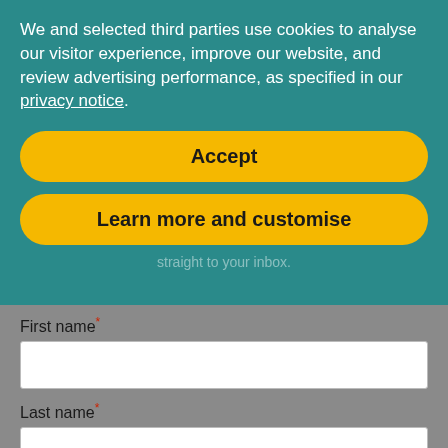We and selected third parties use cookies to analyse our visitor experience, improve our website, and review advertising performance, as specified in our privacy notice.
Accept
Learn more and customise
straight to your inbox.
First name*
Last name*
Email*